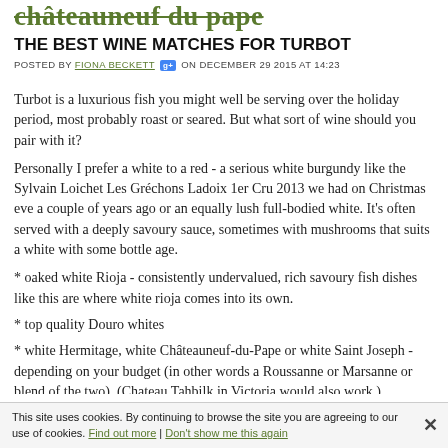châteauneuf du pape
THE BEST WINE MATCHES FOR TURBOT
POSTED BY FIONA BECKETT [G+] ON DECEMBER 29 2015 AT 14:23
Turbot is a luxurious fish you might well be serving over the holiday period, most probably roast or seared. But what sort of wine should you pair with it?
Personally I prefer a white to a red - a serious white burgundy like the Sylvain Loichet Les Gréchons Ladoix 1er Cru 2013 we had on Christmas eve a couple of years ago or an equally lush full-bodied white. It's often served with a deeply savoury sauce, sometimes with mushrooms that suits a white with some bottle age.
* oaked white Rioja - consistently undervalued, rich savoury fish dishes like this are where white rioja comes into its own.
* top quality Douro whites
* white Hermitage, white Châteauneuf-du-Pape or white Saint Joseph - depending on your budget (in other words a Roussanne or Marsanne or blend of the two). (Chateau Tahbilk in Victoria would also work.)
*white Roussillon whites based on Grenache Gris and/or Grenache
This site uses cookies. By continuing to browse the site you are agreeing to our use of cookies. Find out more | Don't show me this again